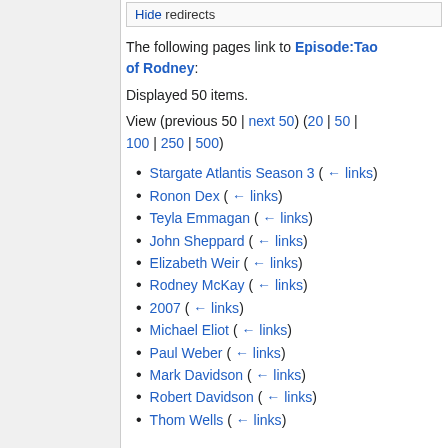Hide redirects
The following pages link to Episode:Tao of Rodney:
Displayed 50 items.
View (previous 50 | next 50) (20 | 50 | 100 | 250 | 500)
Stargate Atlantis Season 3  ( ← links)
Ronon Dex  ( ← links)
Teyla Emmagan  ( ← links)
John Sheppard  ( ← links)
Elizabeth Weir  ( ← links)
Rodney McKay  ( ← links)
2007  ( ← links)
Michael Eliot  ( ← links)
Paul Weber  ( ← links)
Mark Davidson  ( ← links)
Robert Davidson  ( ← links)
Thom Wells  ( ← links)